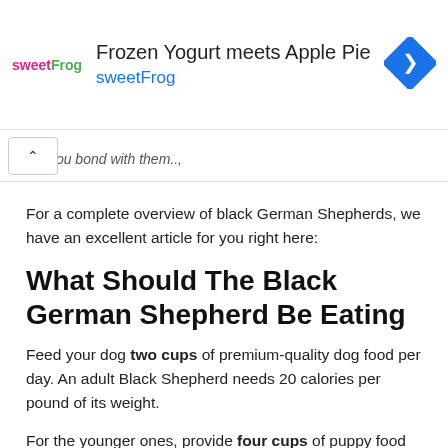[Figure (screenshot): Advertisement banner for sweetFrog frozen yogurt: logo on left, text 'Frozen Yogurt meets Apple Pie' with 'sweetFrog' in blue, blue diamond navigation icon on right]
s you bond with them...
For a complete overview of black German Shepherds, we have an excellent article for you right here:
What Should The Black German Shepherd Be Eating
Feed your dog two cups of premium-quality dog food per day. An adult Black Shepherd needs 20 calories per pound of its weight.
For the younger ones, provide four cups of puppy food to